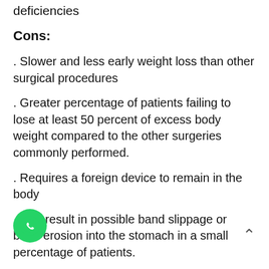deficiencies
Cons:
. Slower and less early weight loss than other surgical procedures
. Greater percentage of patients failing to lose at least 50 percent of excess body weight compared to the other surgeries commonly performed.
. Requires a foreign device to remain in the body
. Can result in possible band slippage or band erosion into the stomach in a small percentage of patients.
. Can have mechanical problems with the band,